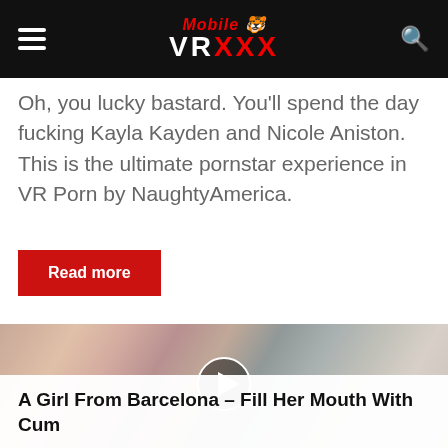Mobile VRXXX
Oh, you lucky bastard. You'll spend the day fucking Kayla Kayden and Nicole Aniston. This is the ultimate pornstar experience in VR Porn by NaughtyAmerica.
Read more
[Figure (photo): A woman in a red plaid shirt lying on a bed with red and patterned pillows, with a play button overlay in the center]
A Girl From Barcelona – Fill Her Mouth With Cum